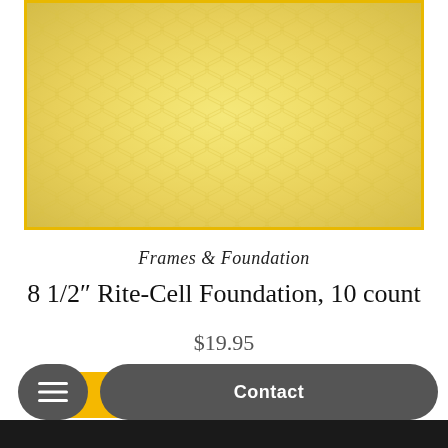[Figure (photo): Close-up photo of yellow beeswax foundation sheet with hexagonal cell pattern, bordered by a golden/amber colored frame]
Frames & Foundation
8 1/2" Rite-Cell Foundation, 10 count
$19.95
Select options
Contact